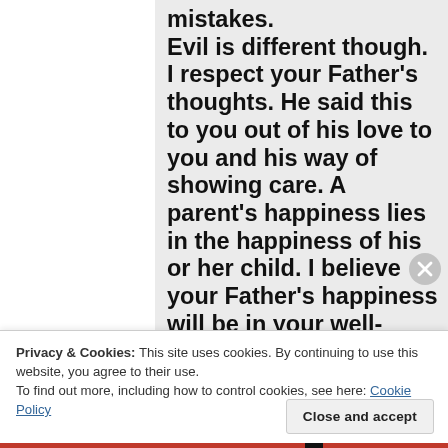mistakes.
Evil is different though.
I respect your Father's thoughts. He said this to you out of his love to you and his way of showing care. A parent's happiness lies in the happiness of his or her child. I believe your Father's happiness will be in your well-being, safety and happiness 🙂
Privacy & Cookies: This site uses cookies. By continuing to use this website, you agree to their use.
To find out more, including how to control cookies, see here: Cookie Policy
Close and accept